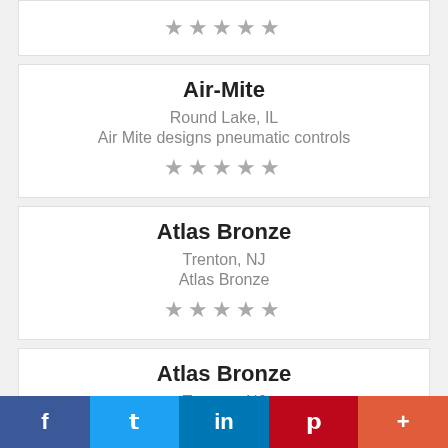★★★★★
Air-Mite
Round Lake, IL
Air Mite designs pneumatic controls
★★★★★
Atlas Bronze
Trenton, NJ
Atlas Bronze
★★★★★
Atlas Bronze
Trenton, NJ
Atlas Bronze
★★★★★
f  t  in  p  +